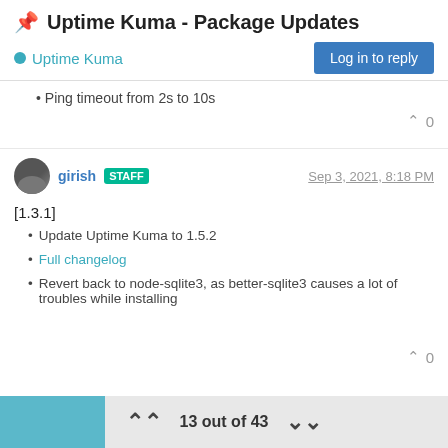📌 Uptime Kuma - Package Updates
Uptime Kuma
Ping timeout from 2s to 10s
girish STAFF  Sep 3, 2021, 8:18 PM
[1.3.1]
Update Uptime Kuma to 1.5.2
Full changelog
Revert back to node-sqlite3, as better-sqlite3 causes a lot of troubles while installing
13 out of 43